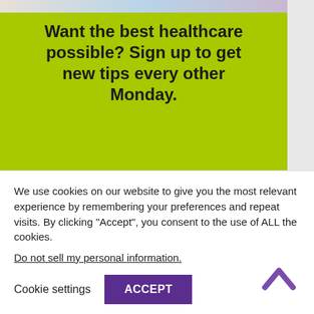[Figure (photo): Partial image of people in healthcare setting at the very top of the page]
Want the best healthcare possible? Sign up to get new tips every other Monday.
Email
I want more tips!
We use cookies on our website to give you the most relevant experience by remembering your preferences and repeat visits. By clicking “Accept”, you consent to the use of ALL the cookies.
Do not sell my personal information.
Cookie settings
ACCEPT